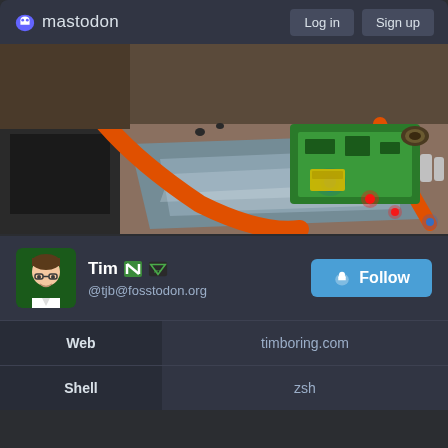mastodon   Log in   Sign up
[Figure (photo): Electronics workbench photo showing circuit boards with blue and red LEDs, orange cables, and antistatic bags on a surface.]
Tim @tjb@fosstodon.org
Follow
| Web | timboring.com |
| --- | --- |
| Shell | zsh |